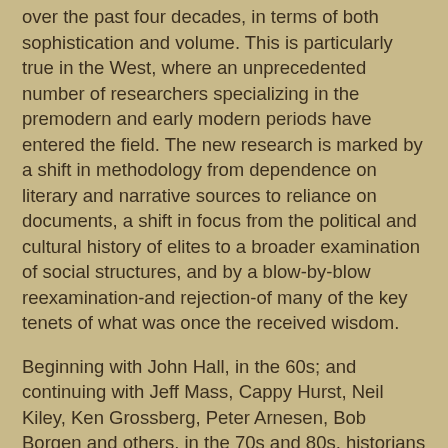over the past four decades, in terms of both sophistication and volume. This is particularly true in the West, where an unprecedented number of researchers specializing in the premodern and early modern periods have entered the field. The new research is marked by a shift in methodology from dependence on literary and narrative sources to reliance on documents, a shift in focus from the political and cultural history of elites to a broader examination of social structures, and by a blow-by-blow reexamination-and rejection-of many of the key tenets of what was once the received wisdom.
Beginning with John Hall, in the 60s; and continuing with Jeff Mass, Cappy Hurst, Neil Kiley, Ken Grossberg, Peter Arnesen, Bob Borgen and others, in the 70s and 80s, historians developed a signally different picture of the Nara, Heian and Kamakura periods. The notions that the ritsuryō system was a failure, that courtiers were aloof fops unengaged in governing, and the samurai had achieved virtually independent control over the countryside by late Heian times were overturned. Upon more careful examination using more reliable source materials, it became clear that the court was able to maintain tight constraints on